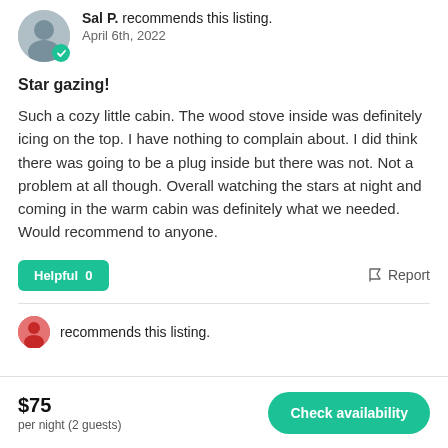Sal P. recommends this listing.
April 6th, 2022
Star gazing!
Such a cozy little cabin. The wood stove inside was definitely icing on the top. I have nothing to complain about. I did think there was going to be a plug inside but there was not. Not a problem at all though. Overall watching the stars at night and coming in the warm cabin was definitely what we needed. Would recommend to anyone.
Helpful 0   Report
$75
per night (2 guests)
Check availability